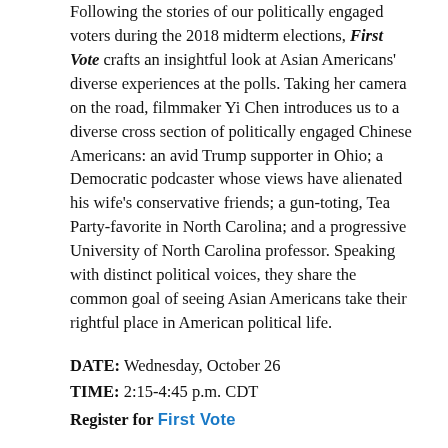Following the stories of our politically engaged voters during the 2018 midterm elections, First Vote crafts an insightful look at Asian Americans' diverse experiences at the polls. Taking her camera on the road, filmmaker Yi Chen introduces us to a diverse cross section of politically engaged Chinese Americans: an avid Trump supporter in Ohio; a Democratic podcaster whose views have alienated his wife's conservative friends; a gun-toting, Tea Party-favorite in North Carolina; and a progressive University of North Carolina professor. Speaking with distinct political voices, they share the common goal of seeing Asian Americans take their rightful place in American political life.
DATE: Wednesday, October 26
TIME: 2:15-4:45 p.m. CDT
Register for First Vote
VIDEO & DISCUSSION: FARMSTEADERS
DISCUSSION LED BY ART TANDERUP, RETIRED EDUCATOR, FARMER, PIPELINE FIGHTER, EARTH DAY LIFETIME